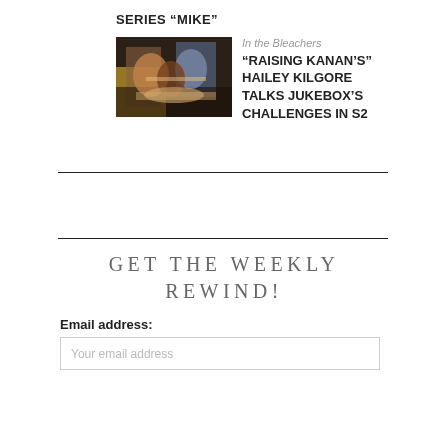SERIES “MIKE”
[Figure (photo): People seated around a dinner table sharing food in a dimly lit scene]
In the Bleachers
“RAISING KANAN’S” HAILEY KILGORE TALKS JUKEBOX’S CHALLENGES IN S2
GET THE WEEKLY REWIND!
Email address:
Your email address